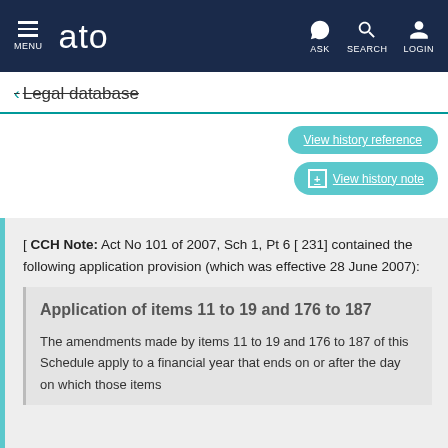MENU | ato | ASK | SEARCH | LOGIN
← Legal database
View history reference
+ View history note
[ CCH Note: Act No 101 of 2007, Sch 1, Pt 6 [ 231] contained the following application provision (which was effective 28 June 2007):
Application of items 11 to 19 and 176 to 187
The amendments made by items 11 to 19 and 176 to 187 of this Schedule apply to a financial year that ends on or after the day on which those items